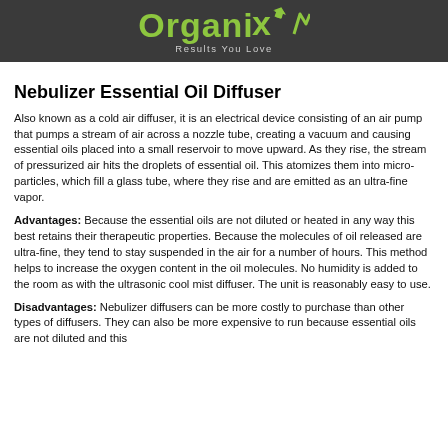[Figure (logo): OrganiX logo with green text and 'Results You Love' tagline on dark grey background]
Nebulizer Essential Oil Diffuser
Also known as a cold air diffuser, it is an electrical device consisting of an air pump that pumps a stream of air across a nozzle tube, creating a vacuum and causing essential oils placed into a small reservoir to move upward. As they rise, the stream of pressurized air hits the droplets of essential oil. This atomizes them into micro-particles, which fill a glass tube, where they rise and are emitted as an ultra-fine vapor.
Advantages: Because the essential oils are not diluted or heated in any way this best retains their therapeutic properties. Because the molecules of oil released are ultra-fine, they tend to stay suspended in the air for a number of hours. This method helps to increase the oxygen content in the oil molecules. No humidity is added to the room as with the ultrasonic cool mist diffuser. The unit is reasonably easy to use.
Disadvantages: Nebulizer diffusers can be more costly to purchase than other types of diffusers. They can also be more expensive to run because essential oils are not diluted and this